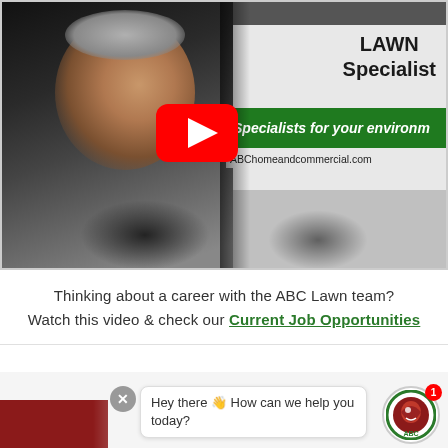[Figure (screenshot): YouTube video thumbnail showing a smiling man with gray hair standing in front of a white ABC Lawn service van. The van displays 'LAWN Specialist', a green stripe reading 'Specialists for your environm...' and URL 'ABChomeandcommercial.com'. A red YouTube play button is overlaid in the center.]
Thinking about a career with the ABC Lawn team? Watch this video & check our Current Job Opportunities
[Figure (screenshot): Chat popup with close X button, message 'Hey there 👋 How can we help you today?', and ABC logo icon with red notification badge showing 1]
[Figure (other): Red bar at bottom of page with decorative text]